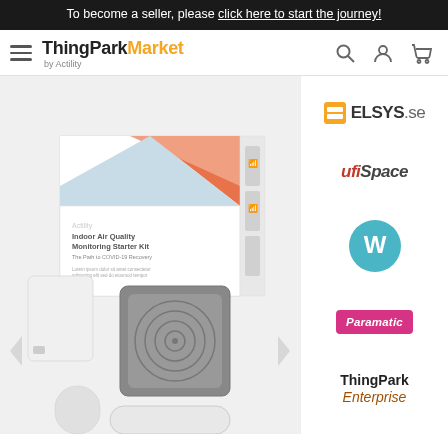To become a seller, please click here to start the journey!
[Figure (logo): ThingPark Market by Actility navigation bar with hamburger menu, logo, search icon, user icon, and cart icon]
[Figure (photo): Indoor Air Quality Monitoring Starter Kit product photo with box and sensors, alongside brand logos: ELSYS.se, ufiSpace, W (wireless), Parametric, ThingPark Enterprise]